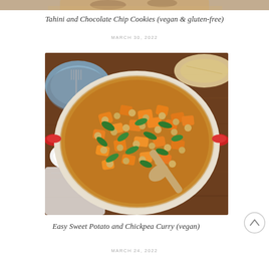[Figure (photo): Top portion of a cropped food photo (partial view of cookies or similar baked goods)]
Tahini and Chocolate Chip Cookies (vegan & gluten-free)
MARCH 30, 2022
[Figure (photo): Overhead photo of a red Dutch oven filled with Easy Sweet Potato and Chickpea Curry, showing cubed orange sweet potatoes, chickpeas, green spinach leaves, in a golden-brown curry sauce, with a wooden spoon. Surrounded by a blue plate with fork, a small white bowl of red pepper flakes, and a cloth napkin on a wooden surface.]
Easy Sweet Potato and Chickpea Curry (vegan)
MARCH 24, 2022